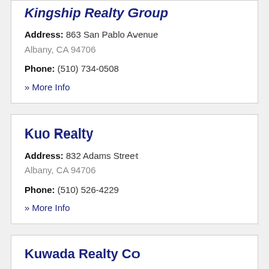Kingship Realty Group — Address: 863 San Pablo Avenue, Albany, CA 94706. Phone: (510) 734-0508. » More Info
Kuo Realty — Address: 832 Adams Street, Albany, CA 94706. Phone: (510) 526-4229. » More Info
Kuwada Realty Co — Address: 1417 Solano Avenue